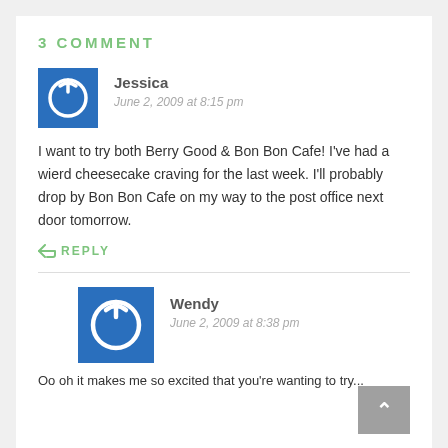3 COMMENT
[Figure (illustration): Blue square avatar with white power/on button icon]
Jessica
June 2, 2009 at 8:15 pm
I want to try both Berry Good & Bon Bon Cafe! I've had a wierd cheesecake craving for the last week. I'll probably drop by Bon Bon Cafe on my way to the post office next door tomorrow.
↩ REPLY
[Figure (illustration): Blue square avatar with white power/on button icon]
Wendy
June 2, 2009 at 8:38 pm
Oo oh it makes me so excited that you're wanting to try...